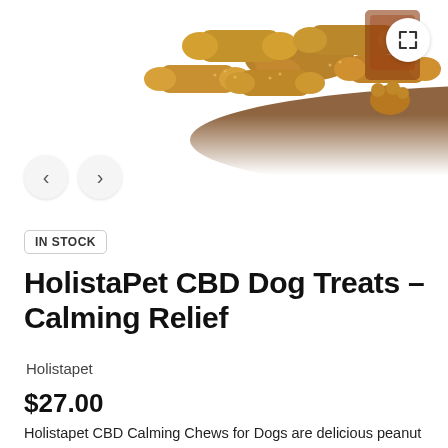[Figure (photo): Dog treats shaped like bones and paw prints piled on a brown plate, partially visible at top of page. Some packaging visible in the background.]
IN STOCK
HolistaPet CBD Dog Treats – Calming Relief
Holistapet
$27.00
Holistapet CBD Calming Chews for Dogs are delicious peanut butter flavored soft chew treats to relax and calm